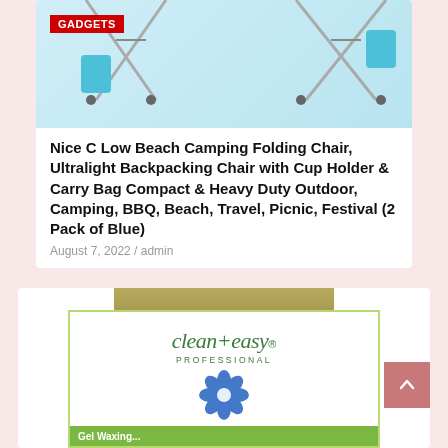[Figure (photo): Folding camping chairs with blue cup holders and metal frame on light blue background]
GADGETS
Nice C Low Beach Camping Folding Chair, Ultralight Backpacking Chair with Cup Holder & Carry Bag Compact & Heavy Duty Outdoor, Camping, BBQ, Beach, Travel, Picnic, Festival (2 Pack of Blue)
August 7, 2022 / admin
[Figure (photo): Clean+easy Professional sensitive wax product box with olive/yellow color accent and blue flower logo]